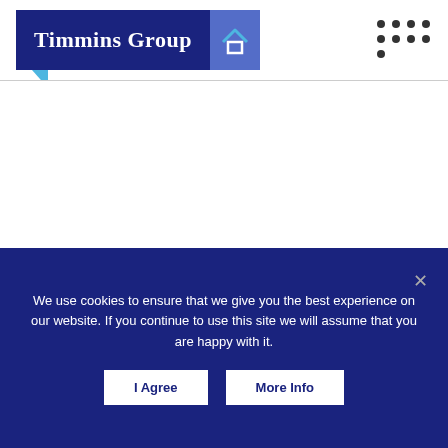[Figure (logo): Timmins Group logo with dark blue background, white text 'Timmins Group', and a house icon in a lighter blue panel on the right. A small teal arrow tab hangs below the left side.]
[Figure (other): A 3x4 grid of dark dots (one dot missing in bottom-left position) forming a decorative pattern in the top-right area of the header.]
We use cookies to ensure that we give you the best experience on our website. If you continue to use this site we will assume that you are happy with it.
I Agree
More Info